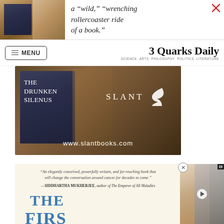[Figure (screenshot): Top partial advertisement showing book cover and italic text: 'a wild, wrenching rollercoaster ride of a book.' with a red X close button]
MENU | 3 Quarks Daily SCIENCE ARTS PHILOSOPHY POLITICS LITERATURE
[Figure (photo): Slant Books advertisement. Shows book 'The Drunken Silenus' with dark blue cover alongside Slant publisher logo and URL www.slantbooks.com on dark wood background.]
[Figure (photo): Bottom advertisement for a book about cancer. Quote: 'An elegantly conceived, powerfully written, and far-reaching book that will change the conversation around cancer for decades to come.' —SIDDHARTHA MUKHERJEE, author of The Emperor of All Maladies. Large blue title letters 'THE' and 'FIRS' visible.]
[Figure (screenshot): Video player overlay showing three thumbnail images with a play button in the center, and a DI badge in the top right corner.]